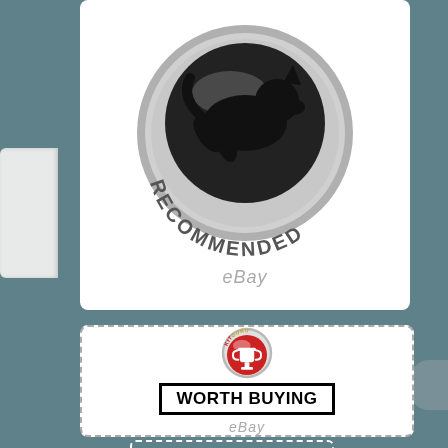[Figure (logo): A round silver badge with a black silhouette of a leaping dog/wolf and text 'RECOMMENDED' across the bottom arc, with 'eBay' text below in gray italic]
[Figure (logo): KitGuru 'Worth Buying' award badge: circular silver frame with red globe and white trophy, 'KITGURU' text at top in gold and red, 'WORTH BUYING' in a black-bordered box below, 'eBay' in gray italic beneath]
More Information